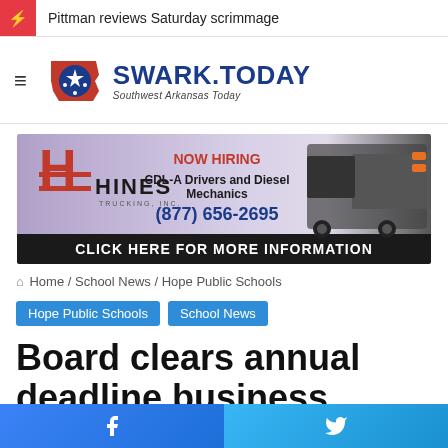Pittman reviews Saturday scrimmage
[Figure (logo): SWARK.TODAY - Southwest Arkansas Today logo with Arkansas state outline in red and blue]
[Figure (infographic): Hines Trucking Inc. advertisement: NOW HIRING CDL-A Drivers and Diesel Mechanics (877) 656-2695 CLICK HERE FOR MORE INFORMATION]
Home / School News / Hope Public Schools
Hope Public Schools  School News
Board clears annual deadline business